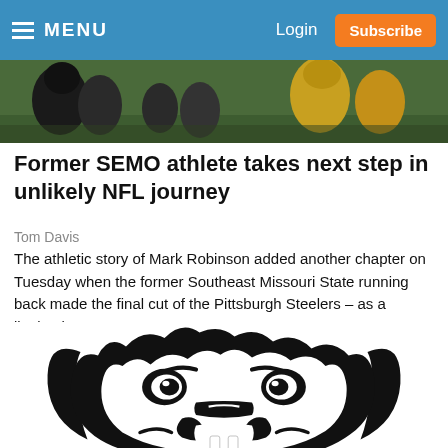MENU  Login  Subscribe
[Figure (photo): Sports photo strip showing football players on a field, cropped at top]
Former SEMO athlete takes next step in unlikely NFL journey
Tom Davis
The athletic story of Mark Robinson added another chapter on Tuesday when the former Southeast Missouri State running back made the final cut of the Pittsburgh Steelers – as a linebacker.
[Figure (illustration): Southeast Missouri State Redhawks bulldog mascot logo — large black bulldog face graphic]